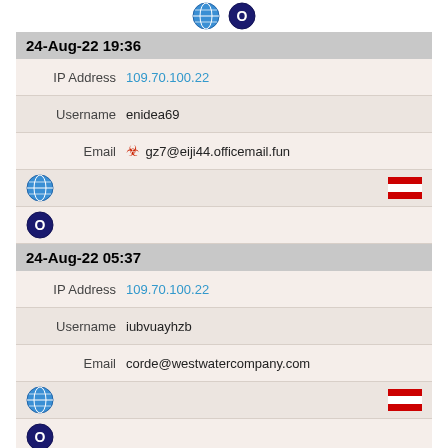[Figure (other): Two circular icons at top (globe and opera/O icon)]
24-Aug-22 19:36
IP Address   109.70.100.22
Username   enidea69
Email   gz7@eiji44.officemail.fun
[Figure (other): Globe icon and Austrian flag icon row]
[Figure (other): Opera/O browser icon row]
24-Aug-22 05:37
IP Address   109.70.100.22
Username   iubvuayhzb
Email   corde@westwatercompany.com
[Figure (other): Globe icon and Austrian flag icon row]
[Figure (other): Opera/O browser icon row]
24-Aug-22 04:28
IP Address   109.70.100.22
Username   franiv16
Email   mo3@akihiro3410.norio54.officemail.in.net